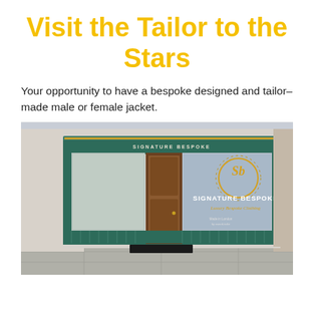Visit the Tailor to the Stars
Your opportunity to have a bespoke designed and tailor-made male or female jacket.
[Figure (photo): Exterior photograph of the Signature Bespoke tailoring shop, showing a green-framed storefront with gold ornamental details, a wooden door, and large windows displaying the 'SIGNATURE BESPOKE — Luxury Bespoke Clothing' branding with a decorative crest logo. Text on the window reads 'ALTERATION SERVICE AVAILABLE IN STORE'.]